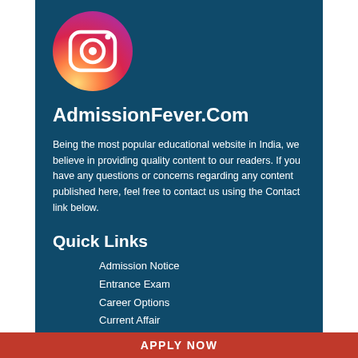[Figure (logo): Instagram logo — circular gradient icon (yellow to pink to purple) with white camera outline and inner circle]
AdmissionFever.Com
Being the most popular educational website in India, we believe in providing quality content to our readers. If you have any questions or concerns regarding any content published here, feel free to contact us using the Contact link below.
Quick Links
Admission Notice
Entrance Exam
Career Options
Current Affair
General Knowledge
General
About us
APPLY NOW